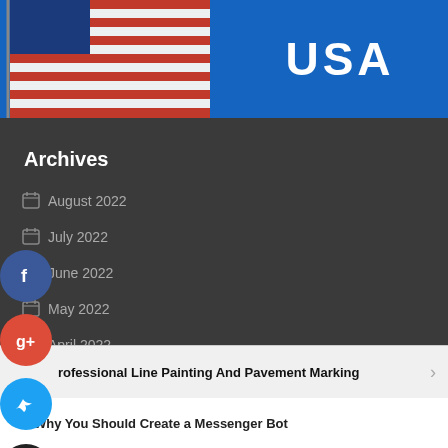[Figure (photo): American flag against blue sky with 'USA' text overlay on right side]
Archives
August 2022
July 2022
June 2022
May 2022
April 2022
rofessional Line Painting And Pavement Marking
Why You Should Create a Messenger Bot